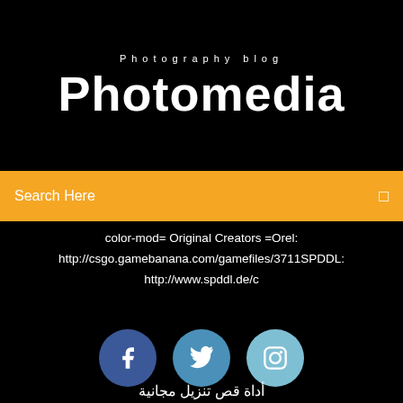Photography blog
Photomedia
Search Here
color-mod= Original Creators =Orel: http://csgo.gamebanana.com/gamefiles/3711SPDDL: http://www.spddl.de/c
[Figure (illustration): Three social media icon circles: Facebook (dark blue), Twitter (medium blue), Instagram (light blue)]
أداة قص تنزيل مجانية